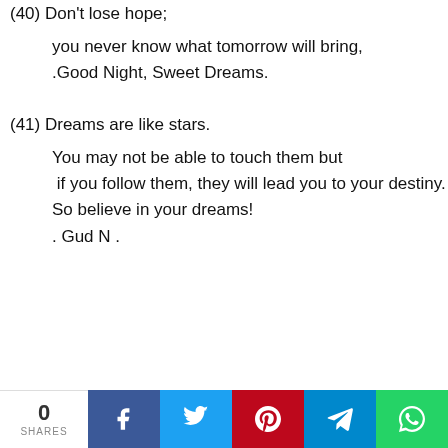(40)  Don't lose hope;

you never know what tomorrow will bring,
.Good Night, Sweet Dreams.
(41)  Dreams are like stars.

You may not be able to touch them but
 if you follow them, they will lead you to your destiny.
So believe in your dreams!
. Gud N .
0 SHARES | Facebook | Twitter | Pinterest | Telegram | WhatsApp